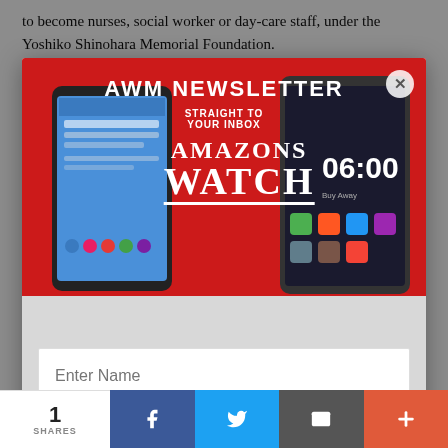to become nurses, social worker or day-care staff, under the Yoshiko Shinohara Memorial Foundation.
[Figure (screenshot): AWM Newsletter popup modal with red banner showing two smartphones, 'AWM NEWSLETTER' heading, 'STRAIGHT TO YOUR INBOX' subheading, Amazons Watch logo, and an 'Enter Name' input field on a gray background]
Enter Name
1 SHARES  [Facebook] [Twitter] [Email] [More]